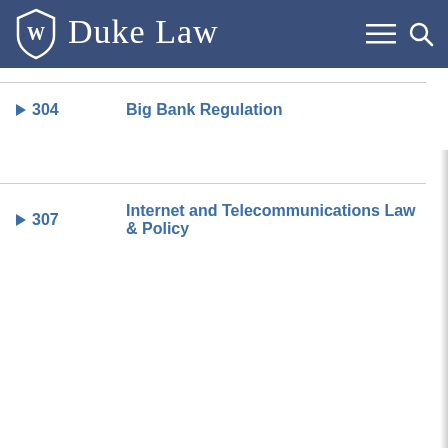Duke Law
304   Big Bank Regulation
307   Internet and Telecommunications Law & Policy